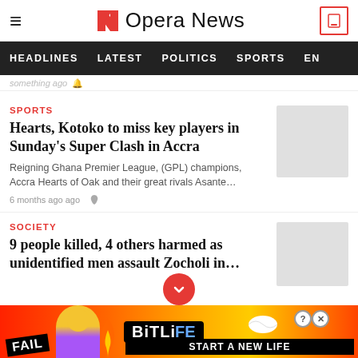Opera News
HEADLINES  LATEST  POLITICS  SPORTS  EN
SPORTS
Hearts, Kotoko to miss key players in Sunday's Super Clash in Accra
Reigning Ghana Premier League, (GPL) champions, Accra Hearts of Oak and their great rivals Asante…
6 months ago ago
SOCIETY
9 people killed, 4 others harmed as unidentified men assault Zocholi in…
[Figure (screenshot): BitLife advertisement banner with FAIL text and cartoon character, START A NEW LIFE text]